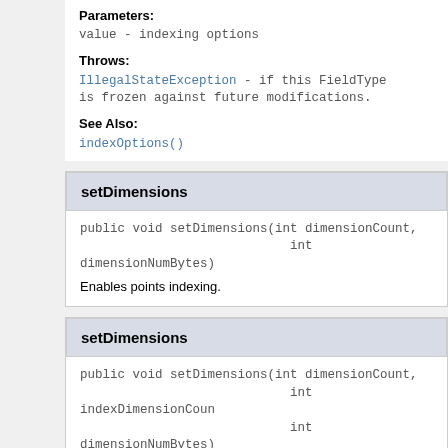Parameters:
value - indexing options
Throws:
IllegalStateException - if this FieldType is frozen against future modifications.
See Also:
indexOptions()
setDimensions
public void setDimensions(int dimensionCount,
                          int dimensionNumBytes)
Enables points indexing.
setDimensions
public void setDimensions(int dimensionCount,
                          int indexDimensionCount,
                          int dimensionNumBytes)